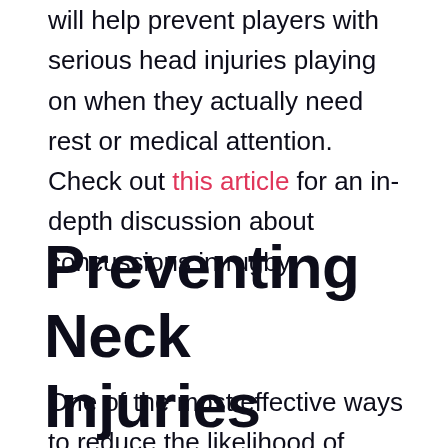will help prevent players with serious head injuries playing on when they actually need rest or medical attention. Check out this article for an in-depth discussion about concussions in rugby.
Preventing Neck Injuries
One of the most effective ways to reduce the likelihood of suffering a neck injury in rugby is to strengthen the neck muscles. Stronger neck